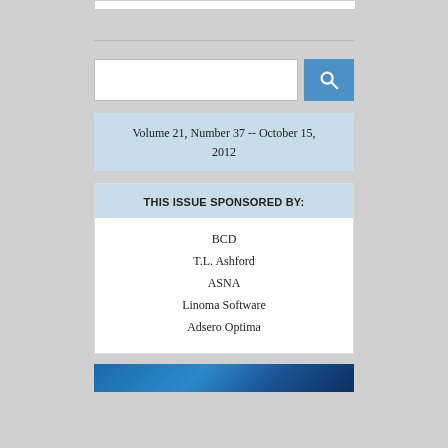[Figure (other): Top white bar / UI element]
[Figure (other): Search input box with blue search button containing magnifying glass icon]
Volume 21, Number 37 -- October 15, 2012
THIS ISSUE SPONSORED BY:
BCD
T.L. Ashford
ASNA
Linoma Software
Adsero Optima
[Figure (photo): Partial blue-toned image at the bottom of the page]